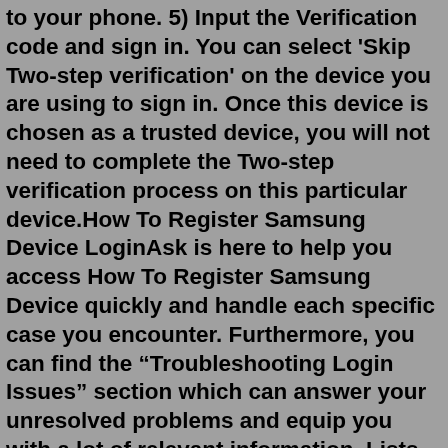to your phone. 5) Input the Verification code and sign in. You can select 'Skip Two-step verification' on the device you are using to sign in. Once this device is chosen as a trusted device, you will not need to complete the Two-step verification process on this particular device.How To Register Samsung Device LoginAsk is here to help you access How To Register Samsung Device quickly and handle each specific case you encounter. Furthermore, you can find the "Troubleshooting Login Issues" section which can answer your unresolved problems and equip you with a lot of relevant information. Lists the device resolutions most used by customers in Galaxy Store. This is a required field when you register your Android app in Seller Portal. Manage in-app items. Read more about how to manage your in-app items in Seller Portal. Test your app on a Samsung device. Test your app on the latest Samsung Galaxy devices using Remote Test Lab. Note: It is important to note that only one Samsung account per email address is allowed. Step 1. From the Home screen, touch Menu >